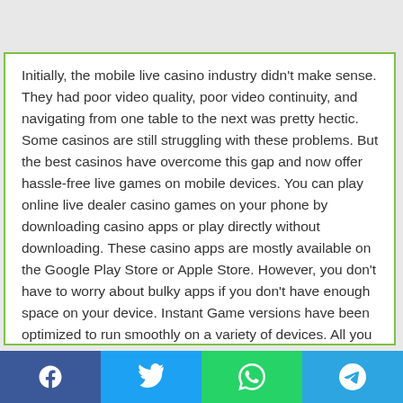Initially, the mobile live casino industry didn't make sense. They had poor video quality, poor video continuity, and navigating from one table to the next was pretty hectic. Some casinos are still struggling with these problems. But the best casinos have overcome this gap and now offer hassle-free live games on mobile devices. You can play online live dealer casino games on your phone by downloading casino apps or play directly without downloading. These casino apps are mostly available on the Google Play Store or Apple Store. However, you don't have to worry about bulky apps if you don't have enough space on your device. Instant Game versions have been optimized to run smoothly on a variety of devices. All you have to do is go to your browser, open the